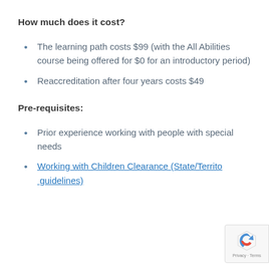How much does it cost?
The learning path costs $99 (with the All Abilities course being offered for $0 for an introductory period)
Reaccreditation after four years costs $49
Pre-requisites:
Prior experience working with people with special needs
Working with Children Clearance (State/Territory guidelines)